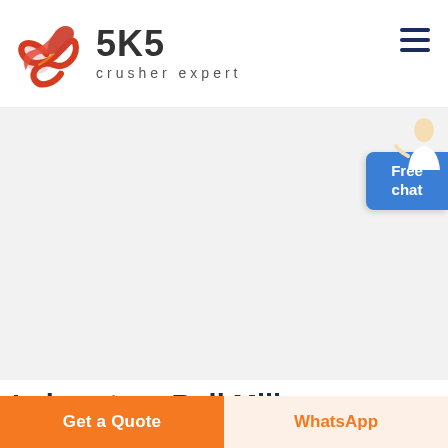[Figure (logo): SKS crusher expert logo with red stylized swirl graphic and bold SKS text with tagline 'crusher expert']
[Figure (photo): Industrial double roller crusher / ball mill machine with yellow frame, black body, orange roller elements, mounted on black base with legs]
[Figure (photo): Customer service representative icon next to Free chat button]
Laboratory Ball Mills, Planetary Ball Mill, High Energy
Get a Quote
WhatsApp